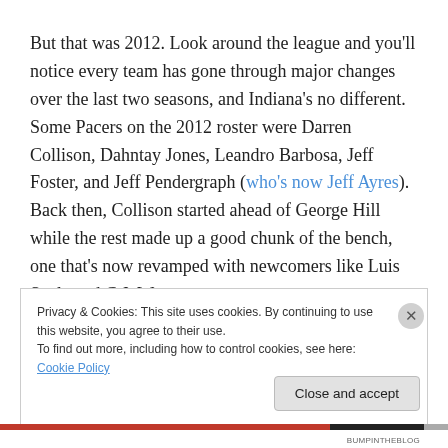But that was 2012. Look around the league and you'll notice every team has gone through major changes over the last two seasons, and Indiana's no different. Some Pacers on the 2012 roster were Darren Collison, Dahntay Jones, Leandro Barbosa, Jeff Foster, and Jeff Pendergraph (who's now Jeff Ayres). Back then, Collison started ahead of George Hill while the rest made up a good chunk of the bench, one that's now revamped with newcomers like Luis Scola and C.J. Watson, among
Privacy & Cookies: This site uses cookies. By continuing to use this website, you agree to their use.
To find out more, including how to control cookies, see here: Cookie Policy